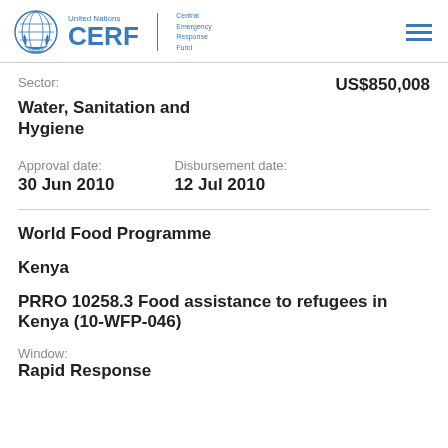[Figure (logo): United Nations CERF (Central Emergency Response Fund) logo with UN emblem circle and blue text]
Sector:
US$850,008
Water, Sanitation and Hygiene
Approval date:
30 Jun 2010
Disbursement date:
12 Jul 2010
World Food Programme
Kenya
PRRO 10258.3 Food assistance to refugees in Kenya (10-WFP-046)
Window:
Rapid Response